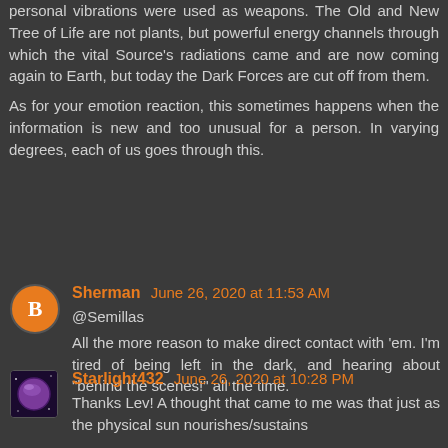personal vibrations were used as weapons. The Old and New Tree of Life are not plants, but powerful energy channels through which the vital Source's radiations came and are now coming again to Earth, but today the Dark Forces are cut off from them.
As for your emotion reaction, this sometimes happens when the information is new and too unusual for a person. In varying degrees, each of us goes through this.
Sherman June 26, 2020 at 11:53 AM
@Semillas
All the more reason to make direct contact with 'em. I'm tired of being left in the dark, and hearing about "behind the scenes!" all the time.
Starlight432 June 26, 2020 at 10:28 PM
Thanks Lev! A thought that came to me was that just as the physical sun nourishes/sustains